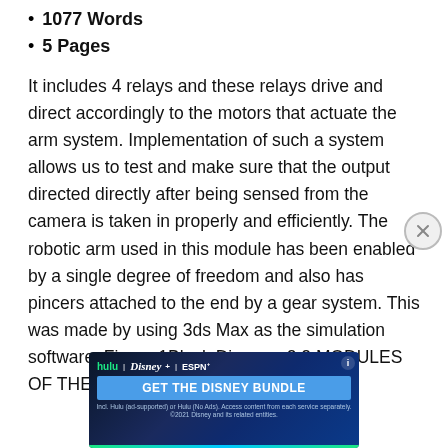1077 Words
5 Pages
It includes 4 relays and these relays drive and direct accordingly to the motors that actuate the arm system. Implementation of such a system allows us to test and make sure that the output directed directly after being sensed from the camera is taken in properly and efficiently. The robotic arm used in this module has been enabled by a single degree of freedom and also has pincers attached to the end by a gear system. This was made by using 3ds Max as the simulation software. Figure 1Block Diagram 2.2 MODULES OF THE PROJECT This project consists
[Figure (infographic): Hulu Disney+ ESPN+ advertisement banner: GET THE DISNEY BUNDLE. Includes fine print about Hulu ad-supported or no ads plans and access from each service separately. 2021 Disney and its related entities.]